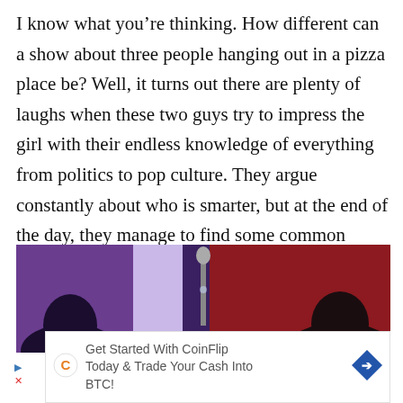I know what you're thinking. How different can a show about three people hanging out in a pizza place be? Well, it turns out there are plenty of laughs when these two guys try to impress the girl with their endless knowledge of everything from politics to pop culture. They argue constantly about who is smarter, but at the end of the day, they manage to find some common ground over their love for pizza.
[Figure (photo): A dark scene with purple, lavender, and red tones showing silhouetted figures, possibly in a TV show or entertainment context.]
[Figure (other): CoinFlip advertisement banner with logo icon, text 'Get Started With CoinFlip Today & Trade Your Cash Into BTC!' and a blue diamond arrow icon on the right.]